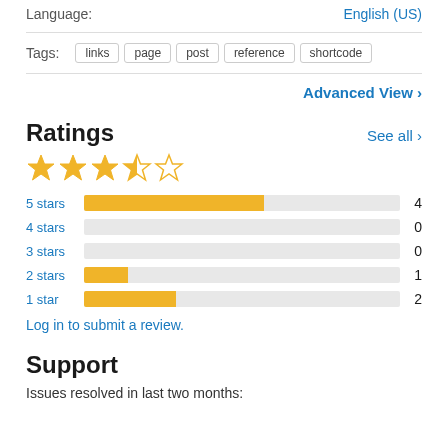Language: English (US)
Tags: links  page  post  reference  shortcode
Advanced View
Ratings
[Figure (other): 3.5 out of 5 stars rating display with 3 full gold stars, 1 half gold star, 1 empty star]
[Figure (bar-chart): Ratings breakdown]
Log in to submit a review.
Support
Issues resolved in last two months: